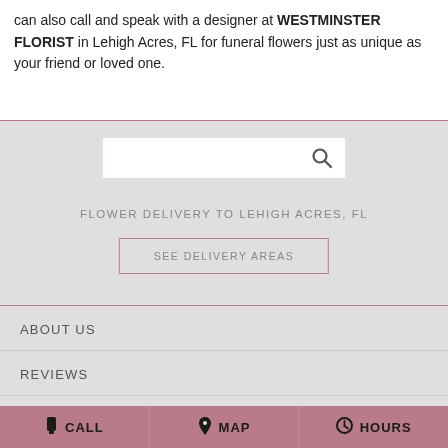can also call and speak with a designer at WESTMINSTER FLORIST in Lehigh Acres, FL for funeral flowers just as unique as your friend or loved one.
[Figure (screenshot): Search bar with magnifying glass icon on gray background]
FLOWER DELIVERY TO LEHIGH ACRES, FL
SEE DELIVERY AREAS
ABOUT US
REVIEWS
SPECIAL OFFERS
CALL  MAP  HOURS